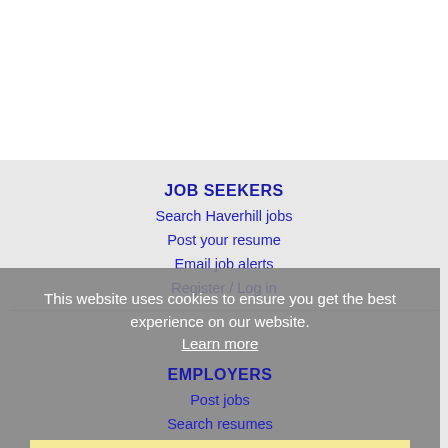JOB SEEKERS
Search Haverhill jobs
Post your resume
Email job alerts
Register / Log in
This website uses cookies to ensure you get the best experience on our website.
Learn more
EMPLOYERS
Post jobs
Search resumes
Email resume alerts
Advertise
Got it!